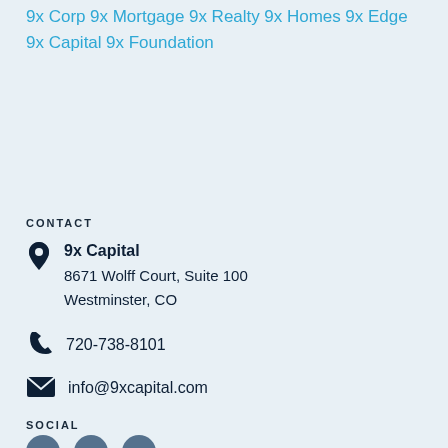9x Corp
9x Mortgage
9x Realty
9x Homes
9x Edge
9x Capital
9x Foundation
CONTACT
9x Capital
8671 Wolff Court, Suite 100
Westminster, CO
720-738-8101
info@9xcapital.com
SOCIAL